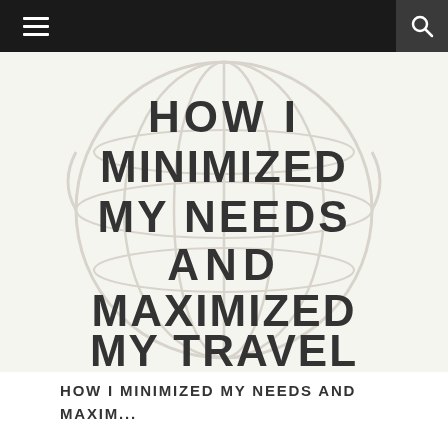Navigation bar with menu and search icons
[Figure (illustration): Circular globe/world icon watermark in light gray as background, with large bold dark gray text reading 'HOW I MINIMIZED MY NEEDS AND MAXIMIZED MY TRAVEL' centered on the image]
HOW I MINIMIZED MY NEEDS AND MAXIM...